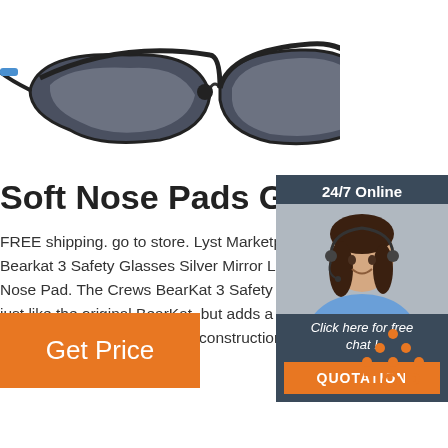[Figure (photo): Product photo of black and blue wraparound sunglasses / safety glasses with dark lenses]
Soft Nose Pads Glasses
FREE shipping. go to store. Lyst Marketplace Bearkat 3 Safety Glasses Silver Mirror Le Nose Pad. The Crews BearKat 3 Safety G just like the original BearKat, but adds a s nosepiece. Its well-designed construction best in …
[Figure (photo): 24/7 Online chat widget with a smiling female customer service agent wearing a headset. Includes 'Click here for free chat!' text and an orange QUOTATION button.]
Get Price
[Figure (logo): Orange 'TOP' back-to-top button with dot triangle above the word TOP]